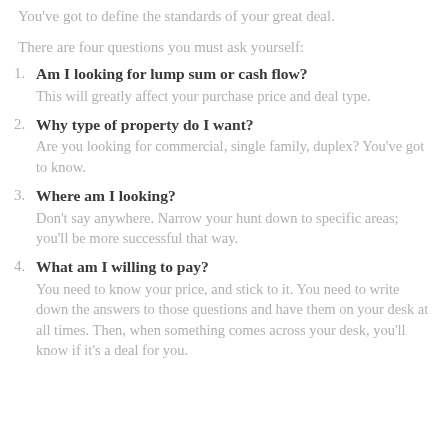You've got to define the standards of your great deal.
There are four questions you must ask yourself:
Am I looking for lump sum or cash flow? This will greatly affect your purchase price and deal type.
Why type of property do I want? Are you looking for commercial, single family, duplex? You've got to know.
Where am I looking? Don't say anywhere. Narrow your hunt down to specific areas; you'll be more successful that way.
What am I willing to pay? You need to know your price, and stick to it. You need to write down the answers to those questions and have them on your desk at all times. Then, when something comes across your desk, you'll know if it's a deal for you.